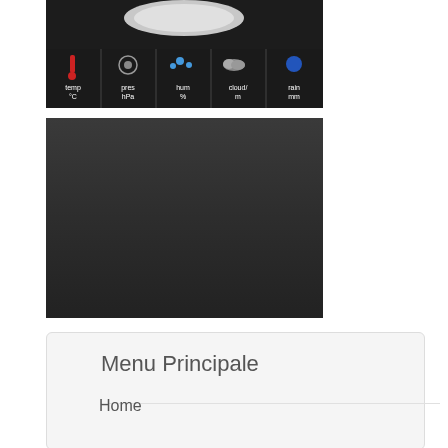[Figure (screenshot): Weather station UI showing a dial/gauge at the top, a dark weather bar with icons for temp °C, pres hPa, hum %, cloud/m, rain mm]
[Figure (screenshot): Dark gray panel, appears to be part of a weather station app interface]
Menu Principale
Home